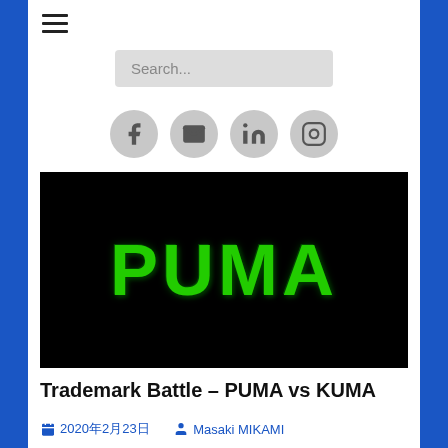[Figure (screenshot): Hamburger menu icon (three horizontal lines)]
[Figure (screenshot): Search bar with placeholder text 'Search...']
[Figure (screenshot): Social media icons: Facebook, Email, LinkedIn, Instagram]
[Figure (photo): Black background with green stylized PUMA text logo]
Trademark Battle – PUMA vs KUMA
2020年2月23日  Masaki MIKAMI